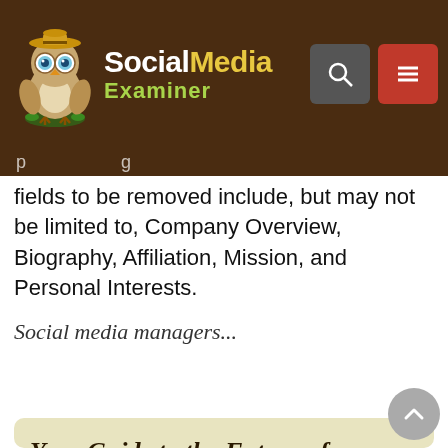Social Media Examiner
fields to be removed include, but may not be limited to, Company Overview, Biography, Affiliation, Mission, and Personal Interests.
Social media managers...
Your Guide to the Future of Business
The Web3 renaissance opens up new opportunities for entrepreneurs, creators, and marketers who are ready to
[Figure (logo): Crypto Business logo — black rounded rectangle with pink and white 'CRYPTO BUSINESS' text and a stylized gem/diamond icon above]